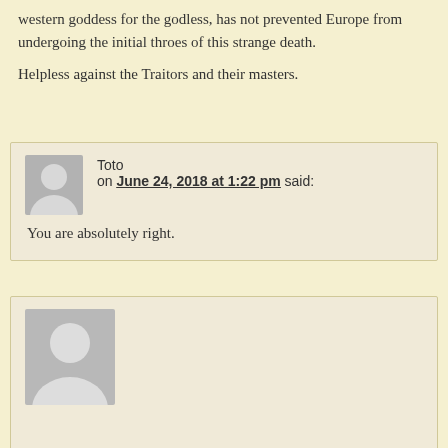western goddess for the godless, has not prevented Europe from undergoing the initial throes of this strange death.

Helpless against the Traitors and their masters.
Toto on June 24, 2018 at 1:22 pm said:
You are absolutely right.
manatthepub on June 24, 2018 at 3:43 am said:
“…while the police, overwhelmed and undermanned, are ill-equipped to uphold law and order.” The big problem is that the police are